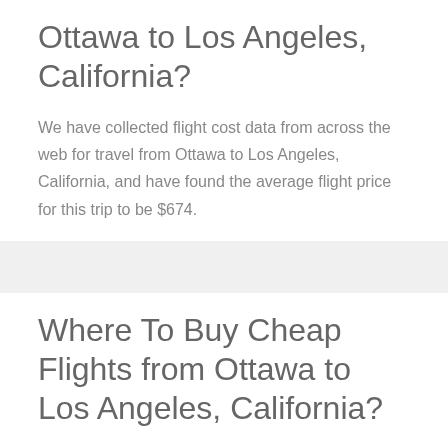Ottawa to Los Angeles, California?
We have collected flight cost data from across the web for travel from Ottawa to Los Angeles, California, and have found the average flight price for this trip to be $674.
Where To Buy Cheap Flights from Ottawa to Los Angeles, California?